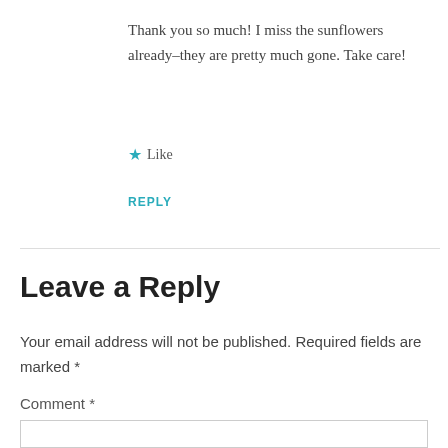Thank you so much! I miss the sunflowers already–they are pretty much gone. Take care!
★ Like
REPLY
Leave a Reply
Your email address will not be published. Required fields are marked *
Comment *